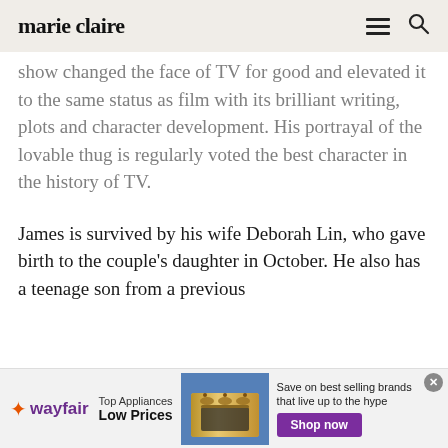marie claire
show changed the face of TV for good and elevated it to the same status as film with its brilliant writing, plots and character development. His portrayal of the lovable thug is regularly voted the best character in the history of TV.
James is survived by his wife Deborah Lin, who gave birth to the couple's daughter in October. He also has a teenage son from a previous
[Figure (screenshot): Wayfair advertisement banner with logo, Top Appliances Low Prices text, stove appliance image, and Shop now button]